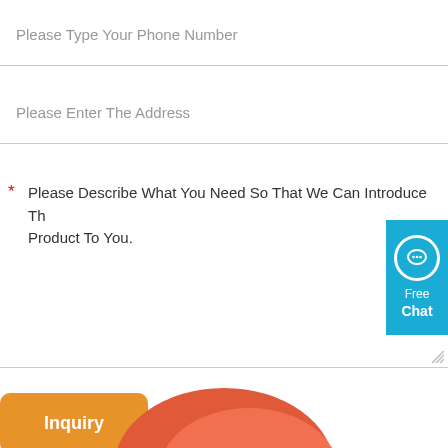Please Type Your Phone Number
Please Enter The Address
* Please Describe What You Need So That We Can Introduce The Product To You.
[Figure (other): Free Chat widget button in blue with chat bubble icon]
Inquiry
[Figure (illustration): Partial red/orange oval or dome shape at bottom center of page]